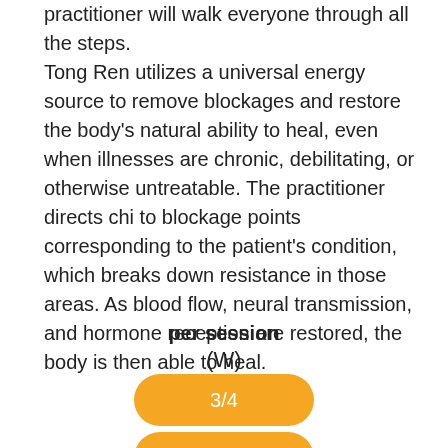practitioner will walk everyone through all the steps. Tong Ren utilizes a universal energy source to remove blockages and restore the body's natural ability to heal, even when illnesses are chronic, debilitating, or otherwise untreatable. The practitioner directs chi to blockage points corresponding to the patient's condition, which breaks down resistance in those areas. As blood flow, neural transmission, and hormone reception are restored, the body is then able to heal.
per session
(W)
3/4